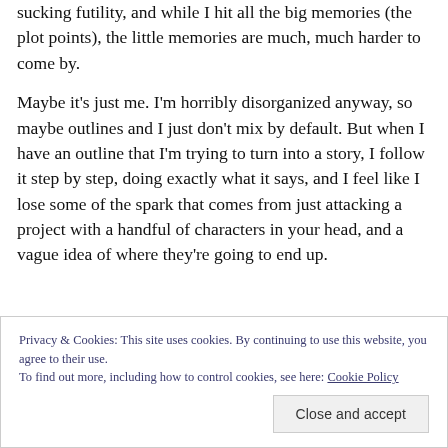sucking futility, and while I hit all the big memories (the plot points), the little memories are much, much harder to come by.
Maybe it's just me. I'm horribly disorganized anyway, so maybe outlines and I just don't mix by default. But when I have an outline that I'm trying to turn into a story, I follow it step by step, doing exactly what it says, and I feel like I lose some of the spark that comes from just attacking a project with a handful of characters in your head, and a vague idea of where they're going to end up.
Privacy & Cookies: This site uses cookies. By continuing to use this website, you agree to their use. To find out more, including how to control cookies, see here: Cookie Policy